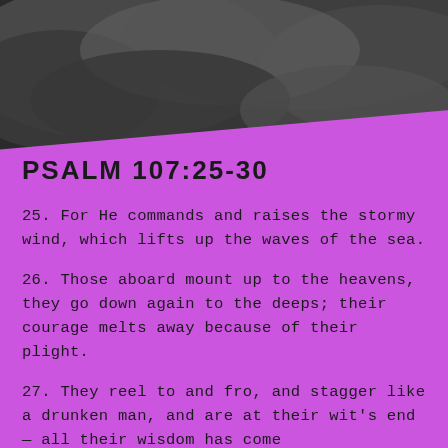[Figure (photo): Dark stormy sea/clouds photograph background at the top of the page]
PSALM 107:25-30
25. For He commands and raises the stormy wind, which lifts up the waves of the sea.
26. Those aboard mount up to the heavens, they go down again to the deeps; their courage melts away because of their plight.
27. They reel to and fro, and stagger like a drunken man, and are at their wit's end — all their wisdom has come